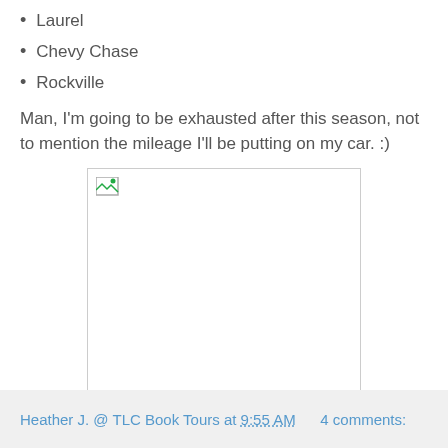Laurel
Chevy Chase
Rockville
Man, I'm going to be exhausted after this season, not to mention the mileage I'll be putting on my car. :)
[Figure (photo): Broken/missing image placeholder with border]
Heather J. @ TLC Book Tours at 9:55 AM    4 comments: